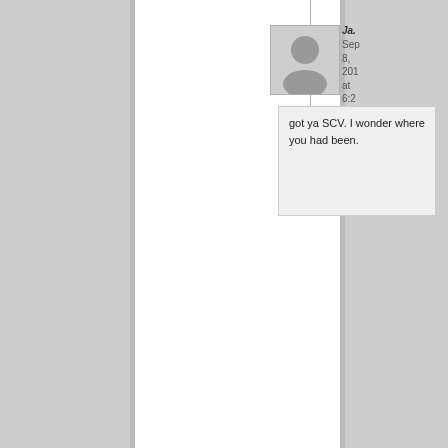[Figure (photo): Avatar placeholder image for user 'Ja...' (James or similar)]
Ja. Sep 8, 201 at 6:2 pm
got ya SCV. I wonder where you had been.
[Figure (photo): Avatar placeholder image for user 'Fra Ca...' (Frank Ca... or similar)]
Fra Ca Sep 8, 201 at 6:5 pm
AHHHH You